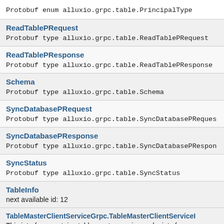Protobuf enum alluxio.grpc.table.PrincipalType
ReadTablePRequest
Protobuf type alluxio.grpc.table.ReadTablePRequest
ReadTablePResponse
Protobuf type alluxio.grpc.table.ReadTablePResponse
Schema
Protobuf type alluxio.grpc.table.Schema
SyncDatabasePRequest
Protobuf type alluxio.grpc.table.SyncDatabasePRequest
SyncDatabasePResponse
Protobuf type alluxio.grpc.table.SyncDatabasePResponse
SyncStatus
Protobuf type alluxio.grpc.table.SyncStatus
TableInfo
next available id: 12
TableMasterClientServiceGrpc.TableMasterClientServiceI
This interface contains table master service endpoints for